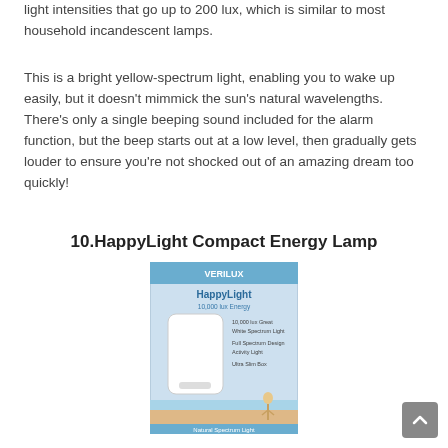light intensities that go up to 200 lux, which is similar to most household incandescent lamps.
This is a bright yellow-spectrum light, enabling you to wake up easily, but it doesn't mimmick the sun's natural wavelengths. There's only a single beeping sound included for the alarm function, but the beep starts out at a low level, then gradually gets louder to ensure you're not shocked out of an amazing dream too quickly!
10.HappyLight Compact Energy Lamp
[Figure (photo): Product box of HappyLight Compact Energy Lamp by Verilux showing the product packaging with a white light panel and a woman on a beach. Text reads 'Natural Spectrum Light'.]